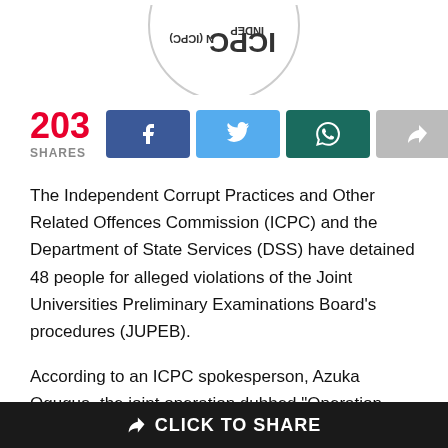[Figure (logo): ICPC (Independent Corrupt Practices Commission) circular logo, partially visible at top, rotated/upside-down showing INDEP and N(ICPC) text around the circle]
203 SHARES
[Figure (infographic): Social share buttons: Facebook (blue), Twitter (light blue), WhatsApp (dark teal), Share (gray)]
The Independent Corrupt Practices and Other Related Offences Commission (ICPC) and the Department of State Services (DSS) have detained 48 people for alleged violations of the Joint Universities Preliminary Examinations Board's procedures (JUPEB).
According to an ICPC spokesperson, Azuka Ogugua, the joint operation dubbed “Operation Combo,” which was carried out in partnership with the Ministry of Education, resulted in the detention of lecturers, security personnel, workers, and students from several of the exam’s
CLICK TO SHARE